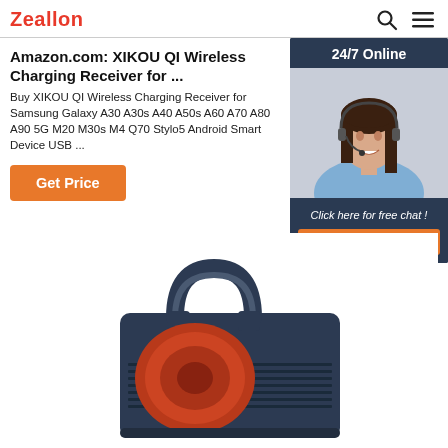Zeallon
Amazon.com: XIKOU QI Wireless Charging Receiver for ...
Buy XIKOU QI Wireless Charging Receiver for Samsung Galaxy A30 A30s A40 A50s A60 A70 A80 A90 5G M20 M30s M4 Q70 Stylo5 Android Smart Device USB ...
[Figure (photo): Customer service representative woman wearing headset, smiling, overlaid on dark navy background with '24/7 Online' header text, 'Click here for free chat!' text, and orange QUOTATION button]
Get Price
[Figure (photo): Dark navy blue portable speaker with handle on top, visible at the bottom of the page]